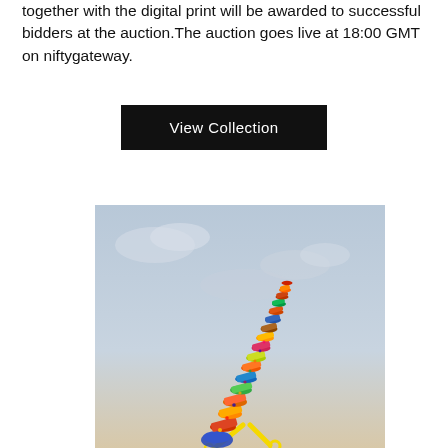together with the digital print will be awarded to successful bidders at the auction. The auction goes live at 18:00 GMT on niftygateway.
[Figure (other): Button or call-to-action element with black background and white text reading 'View Collection']
[Figure (illustration): A colorful, ornate sculptural tower made of stacked decorative objects, balanced on yellow stilts or supports, photographed against a cloudy sky background. The sculpture features vibrant patterns and textures in reds, oranges, blues, and yellows.]